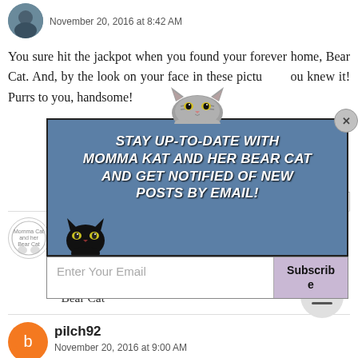November 20, 2016 at 8:42 AM
You sure hit the jackpot when you found your forever home, Bear Cat. And, by the look on your face in these pictures, you knew it! Purrs to you, handsome!
[Figure (infographic): Email subscription popup overlay with cat illustrations, blue background, bold white text reading STAY UP-TO-DATE WITH MOMMA KAT AND HER BEAR CAT AND GET NOTIFIED OF NEW POSTS BY EMAIL!, with an email input field and Subscribe button]
...CKPOT ...
... but Momma's alright ... MOST of the ti...
~Bear Cat
[Figure (logo): Momma Cat and her Bear Cat circular logo avatar]
pilch92
November 20, 2016 at 9:00 AM